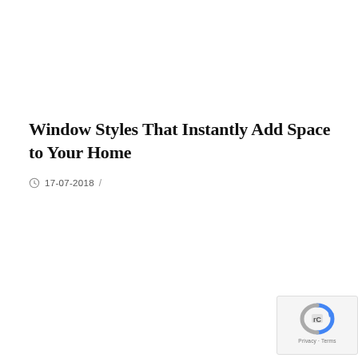Window Styles That Instantly Add Space to Your Home
17-07-2018  /
WINDOWS AND GLASS
[Figure (logo): reCAPTCHA badge with privacy and terms text]